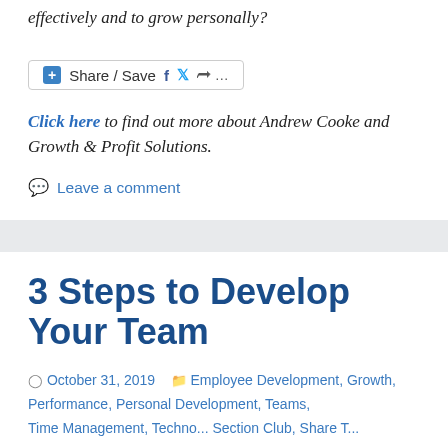effectively and to grow personally?
[Figure (other): Share / Save social sharing bar with Facebook, Twitter, and more icons]
Click here to find out more about Andrew Cooke and Growth & Profit Solutions.
Leave a comment
3 Steps to Develop Your Team
October 31, 2019   Employee Development, Growth, Performance, Personal Development, Teams, Time Management, Techno... Section Club, Share T...